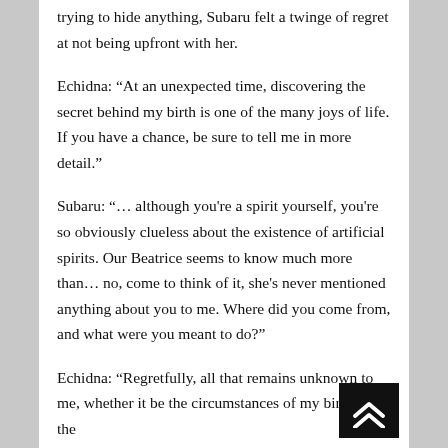trying to hide anything, Subaru felt a twinge of regret at not being upfront with her.
Echidna: “At an unexpected time, discovering the secret behind my birth is one of the many joys of life. If you have a chance, be sure to tell me in more detail.”
Subaru: “… although you're a spirit yourself, you're so obviously clueless about the existence of artificial spirits. Our Beatrice seems to know much more than… no, come to think of it, she's never mentioned anything about you to me. Where did you come from, and what were you meant to do?”
Echidna: “Regretfully, all that remains unknown to me, whether it be the circumstances of my birth or the